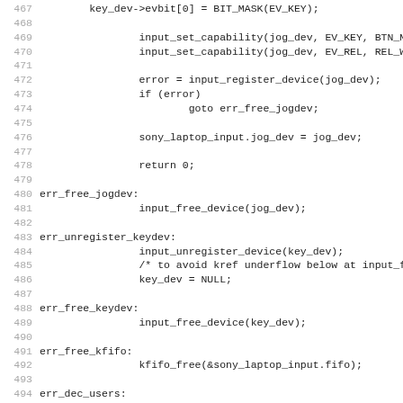Source code listing, lines 467-499, C kernel code for sony_laptop input device handling.